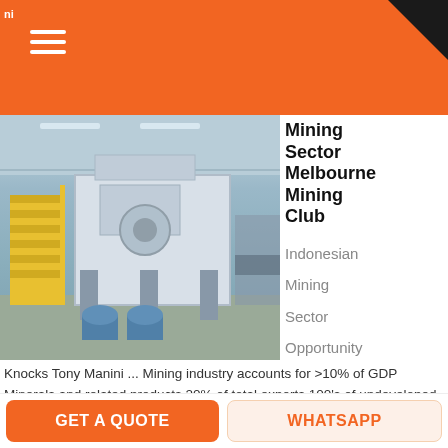ni
[Figure (photo): Industrial mining machine/crusher in a factory warehouse setting, with yellow stairs, blue columns, and blue drums visible]
Mining Sector Melbourne Mining Club
Indonesian
Mining
Sector
Opportunity
Knocks Tony Manini ... Mining industry accounts for >10% of GDP Minerals and related products 20% of total exports 100's of undeveloped exploration projects ... A Significant Challenge for Indonesian Exploration and Mining Industry. 17
GET PRICE
GET A QUOTE
WHATSAPP